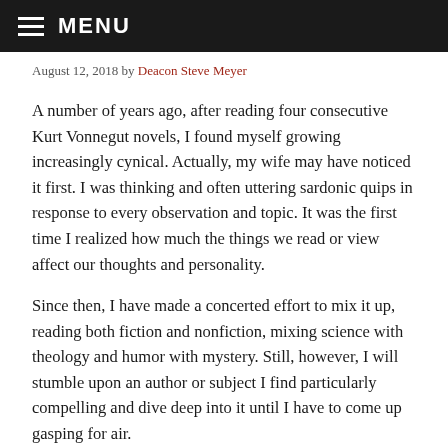MENU
August 12, 2018 by Deacon Steve Meyer
A number of years ago, after reading four consecutive Kurt Vonnegut novels, I found myself growing increasingly cynical. Actually, my wife may have noticed it first. I was thinking and often uttering sardonic quips in response to every observation and topic. It was the first time I realized how much the things we read or view affect our thoughts and personality.
Since then, I have made a concerted effort to mix it up, reading both fiction and nonfiction, mixing science with theology and humor with mystery. Still, however, I will stumble upon an author or subject I find particularly compelling and dive deep into it until I have to come up gasping for air.
I find that I, like most people, fight two dragons simultaneously in my choice of influence. One is the Dragon of Habit and the